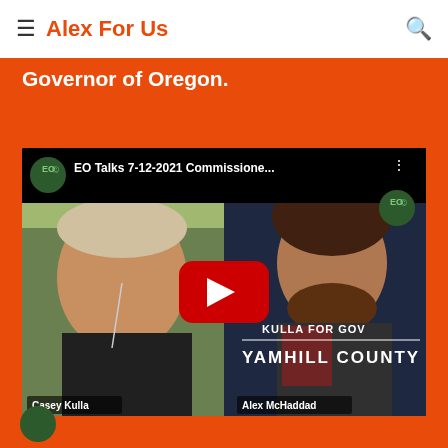Alex For Us
Governor of Oregon.
[Figure (screenshot): YouTube video thumbnail showing EO Talks 7-12-2021 Commissioner... with two people in a split-screen video call. Left side shows Casey Kulla with a play button overlay, right side shows Alex McHaddad with KULLA FOR GOV YAMHILL COUNTY text overlay. EO logo visible in top-left and top-right corners.]